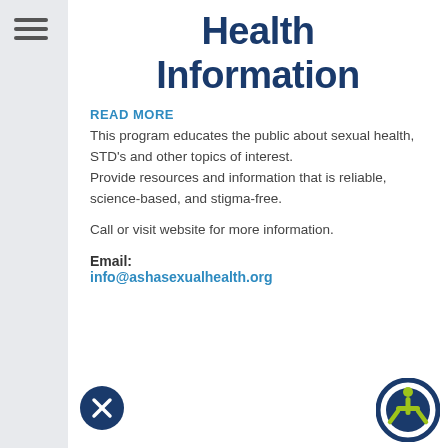[Figure (other): Hamburger menu icon (three horizontal lines) in sidebar]
Health Information
READ MORE
This program educates the public about sexual health, STD's and other topics of interest. Provide resources and information that is reliable, science-based, and stigma-free.
Call or visit website for more information.
Email: info@ashasexualhealth.org
[Figure (logo): Close/X button circle icon in dark navy]
[Figure (logo): ASHA logo: dark navy circle with yellow-green figure and T-shaped arrow icon]